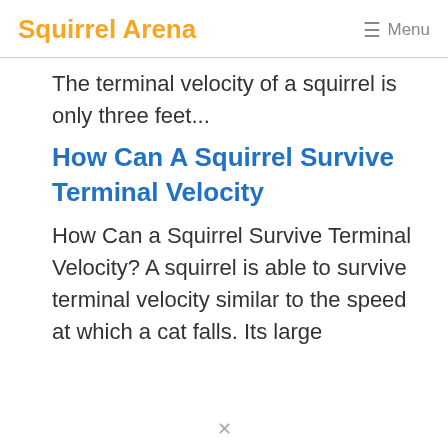Squirrel Arena  ☰ Menu
The terminal velocity of a squirrel is only three feet...
How Can A Squirrel Survive Terminal Velocity
How Can a Squirrel Survive Terminal Velocity? A squirrel is able to survive terminal velocity similar to the speed at which a cat falls. Its large